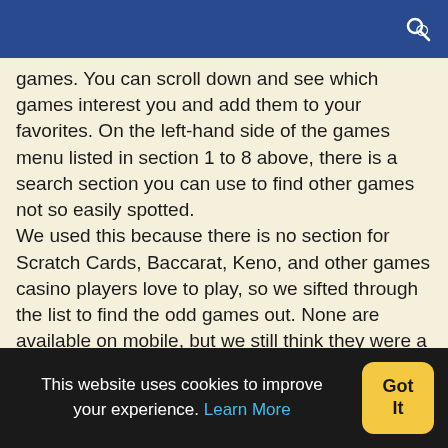games. You can scroll down and see which games interest you and add them to your favorites. On the left-hand side of the games menu listed in section 1 to 8 above, there is a search section you can use to find other games not so easily spotted.
We used this because there is no section for Scratch Cards, Baccarat, Keno, and other games casino players love to play, so we sifted through the list to find the odd games out. None are available on mobile, but we still think they were a great find!
Poker
3 Card Poker
3 Card Poker Gold Series
This website uses cookies to improve your experience. Learn More  Got It